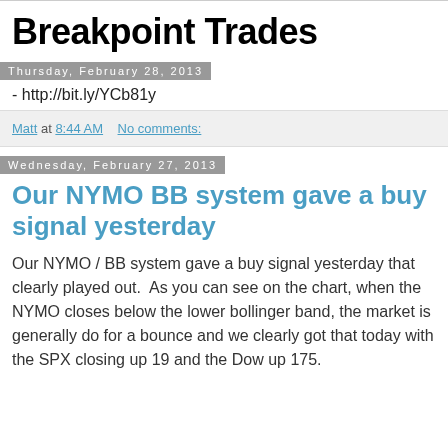Breakpoint Trades
Thursday, February 28, 2013
- http://bit.ly/YCb81y
Matt at 8:44 AM    No comments:
Wednesday, February 27, 2013
Our NYMO BB system gave a buy signal yesterday
Our NYMO / BB system gave a buy signal yesterday that clearly played out.  As you can see on the chart, when the NYMO closes below the lower bollinger band, the market is generally do for a bounce and we clearly got that today with the SPX closing up 19 and the Dow up 175.